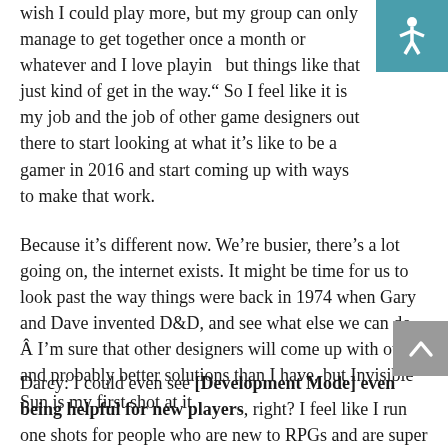wish I could play more, but my group can only manage to get together once a month or whatever and I love playing but things like that just kind of get in the way." So I feel like it is my job and the job of other game designers out there to start looking at what it's like to be a gamer in 2016 and start coming up with ways to make that work.
Because it's different now. We're busier, there's a lot going on, the internet exists. It might be time for us to look past the way things were back in 1974 when Gary and Dave invented D&D, and see what else we can do. Â I'm sure that other designers will come up with other and probably better solutions than I have, but Invisible Sun is my first shot at it.
Darcy: I could even see [Development Mode] even being helpful for new players, right? I feel like I run one shots for people who are new to RPGs and are super into it, and are so excited when they leave and then there's this energy